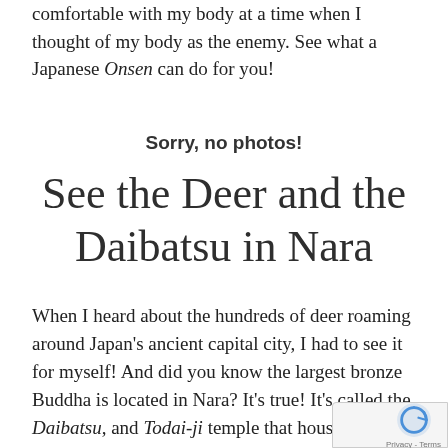comfortable with my body at a time when I thought of my body as the enemy. See what a Japanese Onsen can do for you!
Sorry, no photos!
See the Deer and the Daibatsu in Nara
When I heard about the hundreds of deer roaming around Japan's ancient capital city, I had to see it for myself! And did you know the largest bronze Buddha is located in Nara? It's true! It's called the Daibatsu, and Todai-ji temple that houses it is a UNESCO world Heritage Site. Nara was an unmissable experience and one day I want to go back and see it all again